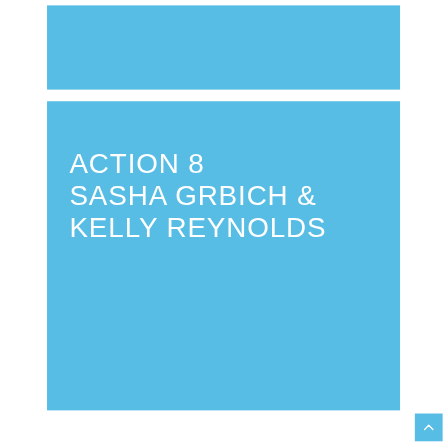[Figure (other): Top blue banner rectangle]
ACTION 8
SASHA GRBICH &
KELLY REYNOLDS
[Figure (other): Scroll-to-top button with upward chevron arrow in blue]